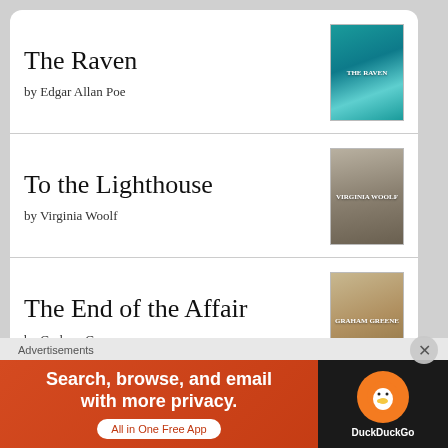The Raven by Edgar Allan Poe
To the Lighthouse by Virginia Woolf
The End of the Affair by Graham Greene
The Heart of the Matter by Graham Greene
The Power and the Glory
Advertisements
[Figure (infographic): DuckDuckGo advertisement banner: Search, browse, and email with more privacy. All in One Free App. DuckDuckGo logo.]